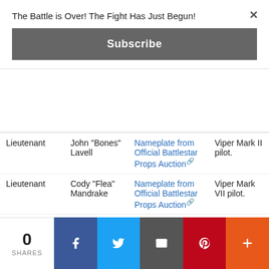The Battle is Over! The Fight Has Just Begun!
Subscribe
| Rank | Name | Item | Description |
| --- | --- | --- | --- |
| Lieutenant | John "Bones" Lavell | Nameplate from Official Battlestar Props Auction | Viper Mark II pilot. |
| Lieutenant | Cody "Flea" Mandrake | Nameplate from Official Battlestar Props Auction | Viper Mark VII pilot. |
0 SHARES | Facebook | Twitter | Email | Pinterest | More